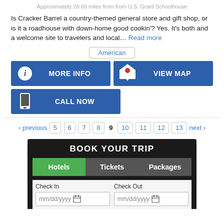Approximately 28.69 miles from from U.S. Grant Schoolhouse
Is Cracker Barrel a country-themed general store and gift shop, or is it a roadhouse with down-home good cookin'? Yes. It's both and a welcome site to travelers and local... Read more
American
[Figure (screenshot): Blue button: MORE INFO with info icon]
[Figure (screenshot): Blue button: VIEW MAP with map pin icon]
[Figure (screenshot): Blue button: CALL NOW with phone icon]
‹ previous  5  6  7  8  9  10  11  12  13  next ›
[Figure (screenshot): BOOK YOUR TRIP widget with Hotels, Tickets, Packages tabs and Check In / Check Out date fields]